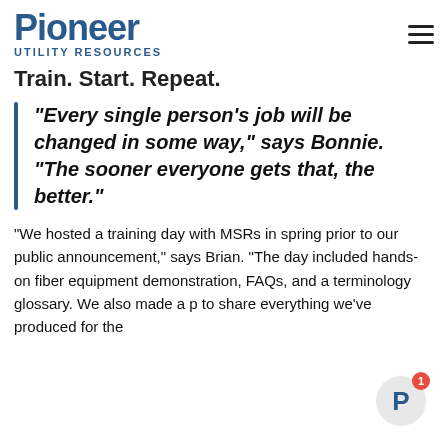Pioneer Utility Resources
Train. Start. Repeat.
“Every single person’s job will be changed in some way,” says Bonnie. “The sooner everyone gets that, the better.”
“We hosted a training day with MSRs in spring prior to our public announcement,” says Brian. “The day included hands-on fiber equipment demonstration, FAQs, and a terminology glossary. We also made a p to share everything we’ve produced for the